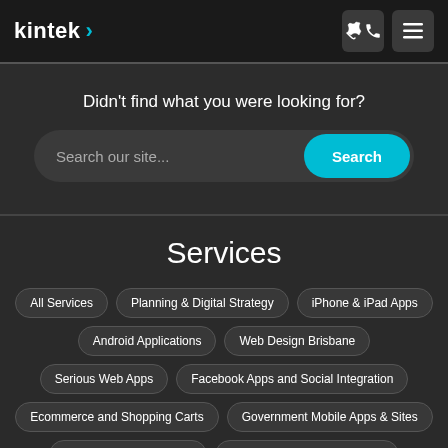kintek >
Didn't find what you were looking for?
Search our site...
Search
Services
All Services
Planning & Digital Strategy
iPhone & iPad Apps
Android Applications
Web Design Brisbane
Serious Web Apps
Facebook Apps and Social Integration
Ecommerce and Shopping Carts
Government Mobile Apps & Sites
Web Design for Schools
Responsive Design Brisbane